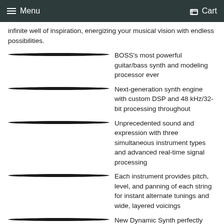Menu   Cart
infinite well of inspiration, energizing your musical vision with endless possibilities.
BOSS's most powerful guitar/bass synth and modeling processor ever
Next-generation synth engine with custom DSP and 48 kHz/32-bit processing throughout
Unprecedented sound and expression with three simultaneous instrument types and advanced real-time signal processing
Each instrument provides pitch, level, and panning of each string for instant alternate tunings and wide, layered voicings
New Dynamic Synth perfectly follows the guitar's natural envelope for uncompromised tone shaping
New sound engine and GK 13-pin interface deliver clear, dynamic sound and precision tracking with zero latency
Dynamic Synth includes two 16-part step sequencers for evolving control of pitch, filter, and amplitude